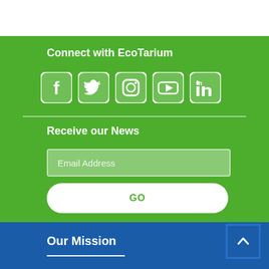Connect with EcoTarium
[Figure (illustration): Social media icons: Facebook, Twitter, Instagram, YouTube, LinkedIn — white rounded square icons on green background]
Receive our News
Email Address
GO
Our Mission